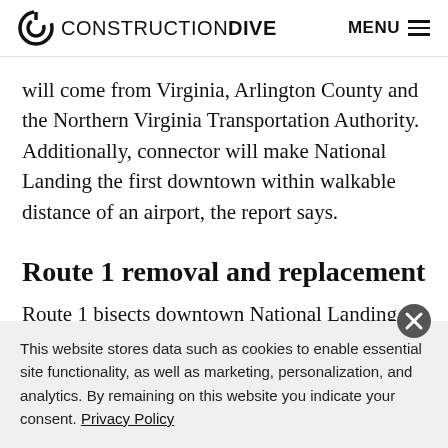CONSTRUCTION DIVE  MENU
will come from Virginia, Arlington County and the Northern Virginia Transportation Authority. Additionally, connector will make National Landing the first downtown within walkable distance of an airport, the report says.
Route 1 removal and replacement
Route 1 bisects downtown National Landing. The
This website stores data such as cookies to enable essential site functionality, as well as marketing, personalization, and analytics. By remaining on this website you indicate your consent. Privacy Policy